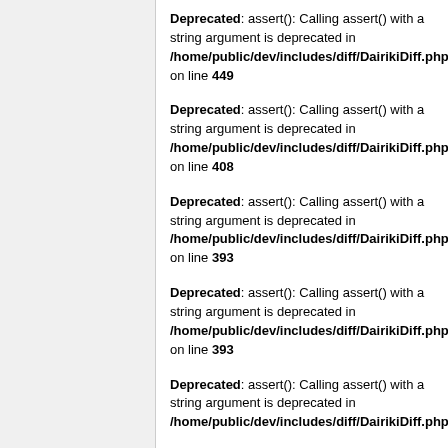Deprecated: assert(): Calling assert() with a string argument is deprecated in /home/public/dev/includes/diff/DairikiDiff.php on line 449
Deprecated: assert(): Calling assert() with a string argument is deprecated in /home/public/dev/includes/diff/DairikiDiff.php on line 408
Deprecated: assert(): Calling assert() with a string argument is deprecated in /home/public/dev/includes/diff/DairikiDiff.php on line 393
Deprecated: assert(): Calling assert() with a string argument is deprecated in /home/public/dev/includes/diff/DairikiDiff.php on line 393
Deprecated: assert(): Calling assert() with a string argument is deprecated in /home/public/dev/includes/diff/DairikiDiff.php